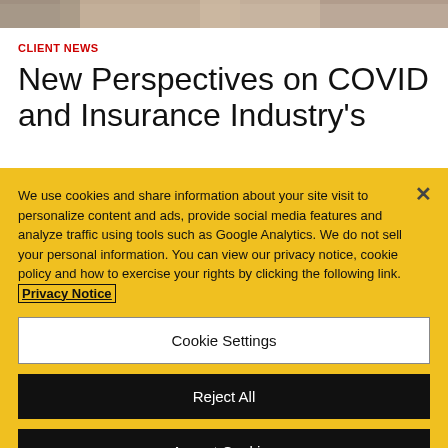[Figure (photo): Top portion of a photo, cropped, showing a person against a neutral background]
CLIENT NEWS
New Perspectives on COVID and Insurance Industry's
We use cookies and share information about your site visit to personalize content and ads, provide social media features and analyze traffic using tools such as Google Analytics. We do not sell your personal information. You can view our privacy notice, cookie policy and how to exercise your rights by clicking the following link. Privacy Notice
Cookie Settings
Reject All
Accept Cookies